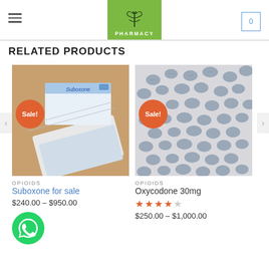PHARMACY
RELATED PRODUCTS
[Figure (photo): Suboxone medication box and blister packs on a brown surface with a Sale! badge]
OPIOIDS
Suboxone for sale
$240.00 – $950.00
[Figure (photo): Pile of small blue oxycodone 30mg tablets on a white surface with a Sale! badge]
OPIOIDS
Oxycodone 30mg
$250.00 – $1,000.00
[Figure (logo): WhatsApp icon - green circle with white phone handset]